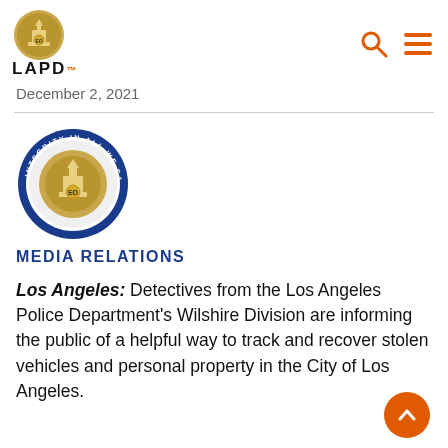LAPD
December 2, 2021
[Figure (logo): LAPD Media Relations logo — circular blue badge with police shield and text 'INTEGRITY IN ALL WE SAY AND DO' with label MEDIA RELATIONS below]
Los Angeles: Detectives from the Los Angeles Police Department's Wilshire Division are informing the public of a helpful way to track and recover stolen vehicles and personal property in the City of Los Angeles.